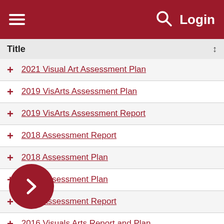Login
| Title |
| --- |
| 2021 Visual Art Assessment Plan |
| 2019 VisArts Assessment Plan |
| 2019 VisArts Assessment Report |
| 2018 Assessment Report |
| 2018 Assessment Plan |
| 2017 Assessment Plan |
| 2017 Assessment Report |
| 2016 Visuals Arts Report and Plan |